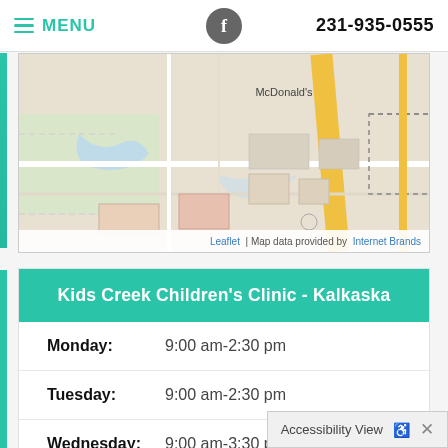MENU   f   231-935-0555
[Figure (map): Street map showing McDonald's location with roads and landmarks. Map attribution: Leaflet | Map data provided by Internet Brands]
Leaflet | Map data provided by Internet Brands
Kids Creek Children's Clinic - Kalkaska
| Day | Hours |
| --- | --- |
| Monday: | 9:00 am-2:30 pm |
| Tuesday: | 9:00 am-2:30 pm |
| Wednesday: | 9:00 am-3:30 pm |
Accessibility View  ♿  ×